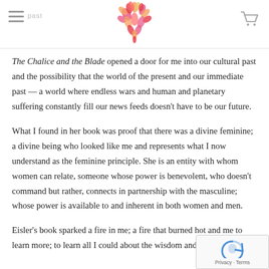The Chalice and the Blade opened a door for me into our cultural past and the possibility that the world of the present and our immediate past — a world where endless wars and human and planetary suffering constantly fill our news feeds doesn't have to be our future.
What I found in her book was proof that there was a divine feminine; a divine being who looked like me and represents what I now understand as the feminine principle. She is an entity with whom women can relate, someone whose power is benevolent, who doesn't command but rather, connects in partnership with the masculine; whose power is available to and inherent in both women and men.
Eisler's book sparked a fire in me; a fire that burned hot and me to learn more; to learn all I could about the wisdom and